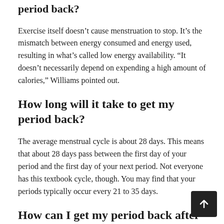period back?
Exercise itself doesn’t cause menstruation to stop. It’s the mismatch between energy consumed and energy used, resulting in what’s called low energy availability. “It doesn’t necessarily depend on expending a high amount of calories,” Williams pointed out.
How long will it take to get my period back?
The average menstrual cycle is about 28 days. This means that about 28 days pass between the first day of your period and the first day of your next period. Not everyone has this textbook cycle, though. You may find that your periods typically occur every 21 to 35 days.
How can I get my period back after working out?